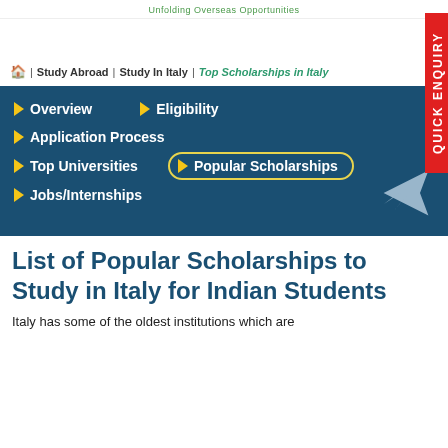Unfolding Overseas Opportunities
🏠 | Study Abroad | Study In Italy | Top Scholarships in Italy
Overview
Eligibility
Application Process
Top Universities
Popular Scholarships
Jobs/Internships
List of Popular Scholarships to Study in Italy for Indian Students
Italy has some of the oldest institutions which are